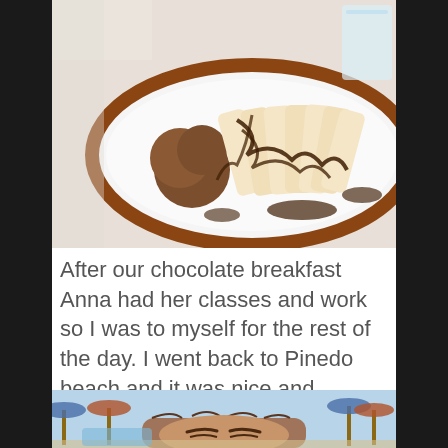[Figure (photo): A white oval plate with a wooden border containing crepes drizzled with chocolate sauce and a scoop of chocolate ice cream. A glass of water is visible in the upper right corner.]
After our chocolate breakfast Anna had her classes and work so I was to myself for the rest of the day. I went back to Pinedo beach and it was nice and relaxing.
[Figure (photo): A person taking a selfie at Pinedo beach, with beach umbrellas and blue sky visible in the background.]